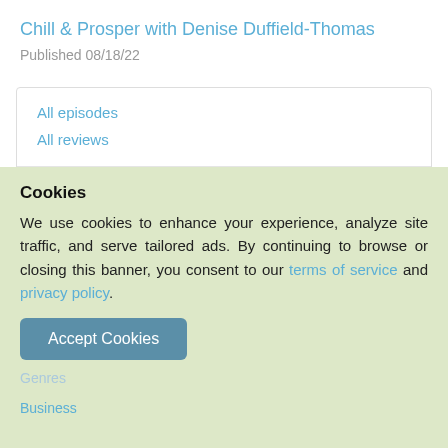Chill & Prosper with Denise Duffield-Thomas
Published 08/18/22
All episodes
All reviews
Links
denisedt.podbean.com
RSS feed
on Apple Podcasts
Cookies
We use cookies to enhance your experience, analyze site traffic, and serve tailored ads. By continuing to browse or closing this banner, you consent to our terms of service and privacy policy.
Accept Cookies
Genres
Business